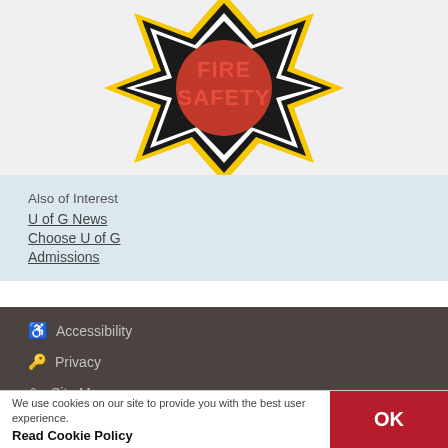[Figure (logo): Fire Safety badge/logo - Maltese cross shape with black background, yellow border, white inner border, and red text reading FIRE SAFETY in the center]
Also of Interest
U of G News
Choose U of G
Admissions
♿ Accessibility
🔑 Privacy
Site Map
We use cookies on our site to provide you with the best user experience.
Read Cookie Policy
OK